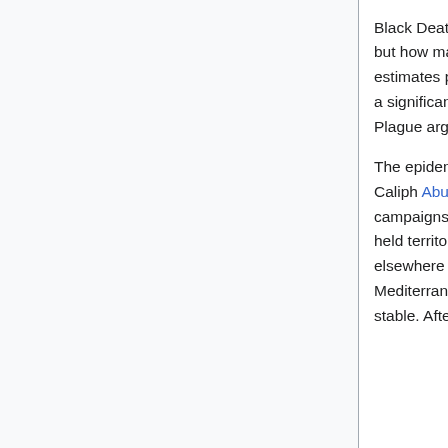Black Death, the single deadliest pandemic in human history, but how many actually died from it remains uncertain. Current estimates put the figure between thirty and fifty million people, a significant portion of the human population at that time. The Plague arguably cemented the fate of Rome.
The epidemic also devastated the Sasanian Empire in Persia. Caliph Abu Bakr seized the opportunity to launch military campaigns that overran the Sassanians and captured Roman-held territories in the Caucasus, the Levant, Egypt, and elsewhere in North Africa. Before the Justinian Plague, the Mediterranean world had been commercially and culturally stable. After the Plague, it fractured into a trio of